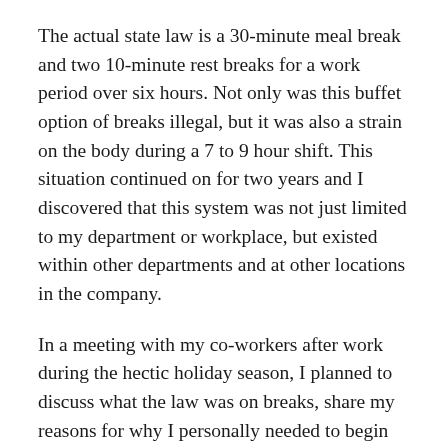The actual state law is a 30-minute meal break and two 10-minute rest breaks for a work period over six hours. Not only was this buffet option of breaks illegal, but it was also a strain on the body during a 7 to 9 hour shift. This situation continued on for two years and I discovered that this system was not just limited to my department or workplace, but existed within other departments and at other locations in the company.
In a meeting with my co-workers after work during the hectic holiday season, I planned to discuss what the law was on breaks, share my reasons for why I personally needed to begin taking all my breaks, and my fear of being retaliated against if I was the only worker to take their full breaks. Frustrated at this situation, my instinct was to organize around the issue and make some demands collectively. But, my co-